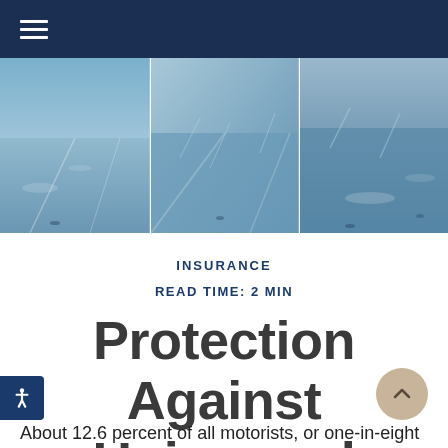Navigation bar with hamburger menu
[Figure (photo): Blue-tinted highway scene with cars driving on wet road, motion blur, three-panel composite photo]
INSURANCE
READ TIME: 2 MIN
Protection Against Uninsured Drivers
About 12.6 percent of all motorists, or one-in-eight drivers, do not have automobile insurance, according to